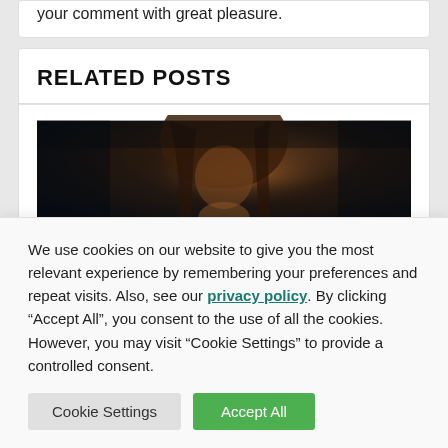your comment with great pleasure.
RELATED POSTS
[Figure (photo): Dark moody photo of a person with long hair, looking down, holding something with their hands, dimly lit scene.]
We use cookies on our website to give you the most relevant experience by remembering your preferences and repeat visits. Also, see our privacy policy. By clicking “Accept All”, you consent to the use of all the cookies. However, you may visit “Cookie Settings” to provide a controlled consent.
Cookie Settings | Accept All